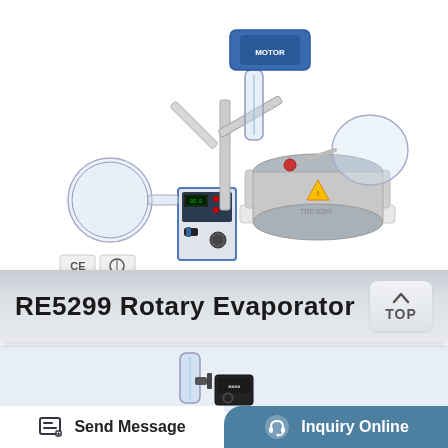[Figure (photo): Rotary evaporator RE5299 laboratory equipment with glass flask, condenser, heating bath, and control unit on white background]
RE5299 Rotary Evaporator
[Figure (photo): Secondary view of laboratory equipment (condenser/vacuum pump unit) on light blue background]
Send Message
Inquiry Online